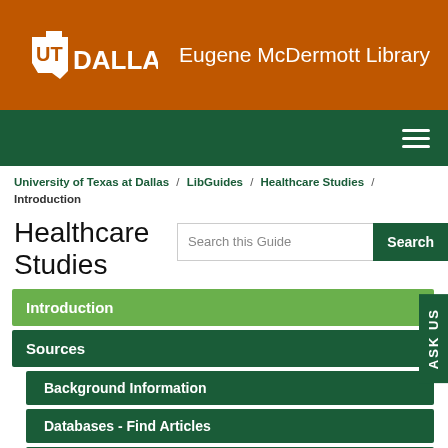[Figure (logo): UT Dallas logo with Texas longhorn icon in white on burnt orange background]
Eugene McDermott Library
[Figure (other): Dark green navigation bar with hamburger menu icon]
University of Texas at Dallas / LibGuides / Healthcare Studies / Introduction
Healthcare Studies
Search this Guide
Introduction
Sources
Background Information
Databases - Find Articles
Books
Journals